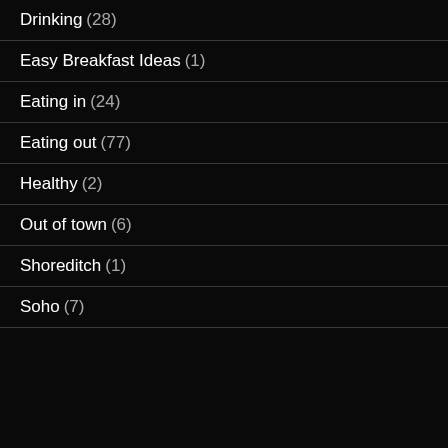Drinking (28)
Easy Breakfast Ideas (1)
Eating in (24)
Eating out (77)
Healthy (2)
Out of town (6)
Shoreditch (1)
Soho (7)
Google+